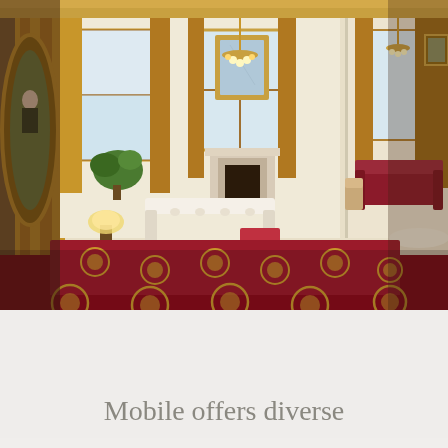[Figure (photo): Interior photograph of a Victorian-era parlor or historic house museum. The room features a large crimson patterned carpet with gold medallion designs, ornate antique furniture including a white tufted settee, red upholstered chair, carved wooden chairs, and a round dark wood center table. Gold damask curtains hang from tall windows in the background. A chandelier hangs from the ceiling. Framed portraits hang on the walls. A mirror with gilt frame is above a fireplace. The room extends into a second parlor visible through a wide doorway on the right, where a red velvet sofa and additional antique chairs are visible.]
Mobile offers diverse